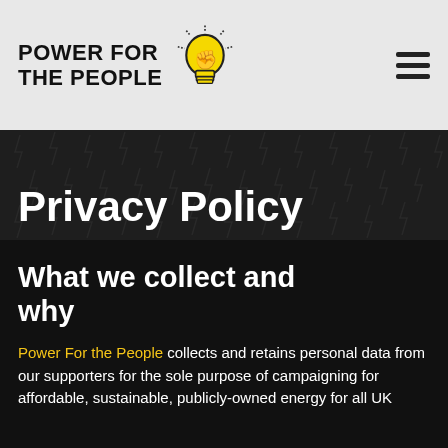POWER FOR THE PEOPLE
Privacy Policy
What we collect and why
Power For the People collects and retains personal data from our supporters for the sole purpose of campaigning for affordable, sustainable, publicly-owned energy for all UK